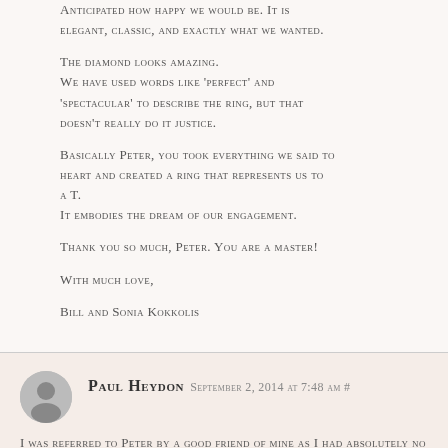anticipated how happy we would be. It is elegant, classic, and exactly what we wanted.
The diamond looks amazing. We have used words like 'perfect' and 'spectacular' to describe the ring, but that doesn't really do it justice.
Basically Peter, you took everything we said to heart and created a ring that represents us to a T.
It embodies the dream of our engagement.
Thank you so much, Peter. You are a master!
With much love,
Bill and Sonia Kokkolis
Paul Heydon September 2, 2014 at 7:48 am #
I was referred to Peter by a good friend of mine as I had absolutely no idea how or where to start looking for an engagement